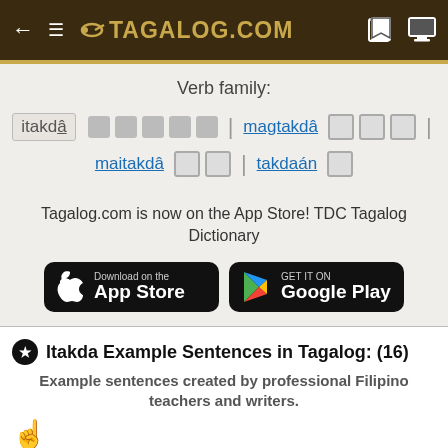TAGALOG.COM
Verb family:
itakdâ  |  magtakdâ  |  maitakdâ  |  takdaán
Tagalog.com is now on the App Store! TDC Tagalog Dictionary
[Figure (screenshot): Download on the App Store button and Get it on Google Play button]
Itakda Example Sentences in Tagalog: (16)
Example sentences created by professional Filipino teachers and writers.